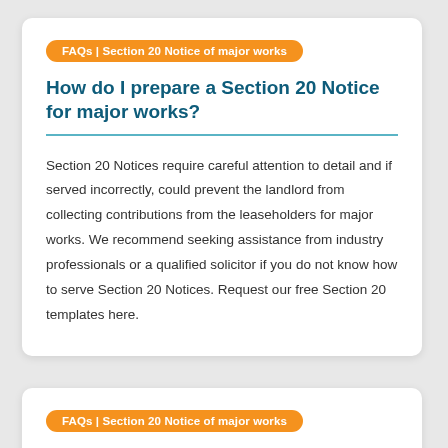FAQs | Section 20 Notice of major works
How do I prepare a Section 20 Notice for major works?
Section 20 Notices require careful attention to detail and if served incorrectly, could prevent the landlord from collecting contributions from the leaseholders for major works. We recommend seeking assistance from industry professionals or a qualified solicitor if you do not know how to serve Section 20 Notices. Request our free Section 20 templates here.
FAQs | Section 20 Notice of major works